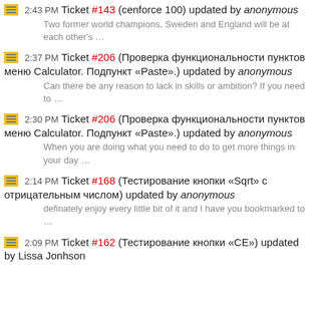2:43 PM Ticket #143 (cenforce 100) updated by anonymous
Two former world champions, Sweden and England will be at each other's …
2:37 PM Ticket #206 (Проверка функциональности пунктов меню Calculator. Подпункт «Paste».) updated by anonymous
Can there be any reason to lack in skills or ambition? If you need to …
2:30 PM Ticket #206 (Проверка функциональности пунктов меню Calculator. Подпункт «Paste».) updated by anonymous
When you are doing what you need to do to get more things in your day …
2:14 PM Ticket #168 (Тестирование кнопки «Sqrt» с отрицательным числом) updated by anonymous
definately enjoy every little bit of it and I have you bookmarked to …
2:09 PM Ticket #162 (Тестирование кнопки «CE») updated by Lissa Jonhson